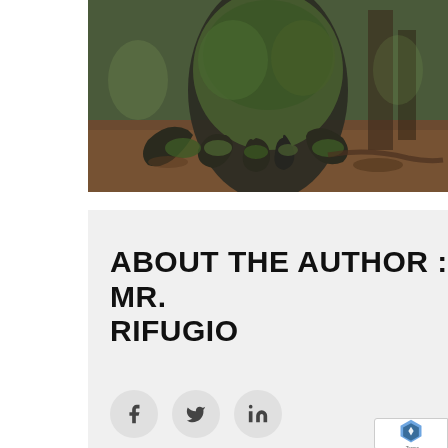[Figure (photo): Photograph of a large moss-covered tree with exposed, claw-like roots on a forest floor covered in brown leaf litter.]
ABOUT THE AUTHOR : MR. RIFUGIO